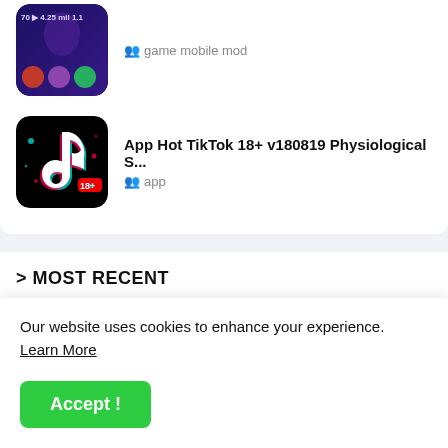[Figure (screenshot): Mobile Legends game app icon - dark purple background with colorful game characters and skill icons]
game mobile mod
[Figure (screenshot): TikTok 18+ app icon - black background with TikTok logo and 18+ label]
App Hot TikTok 18+ v180819 Physiological S...
app
> MOST RECENT
[Figure (screenshot): Garfield Kart racing game thumbnail - colorful cartoon racing scene]
[Figure (screenshot): Impossible Creatures game thumbnail - dark apocalyptic scene with text]
Our website uses cookies to enhance your experience. Learn More
Accept !